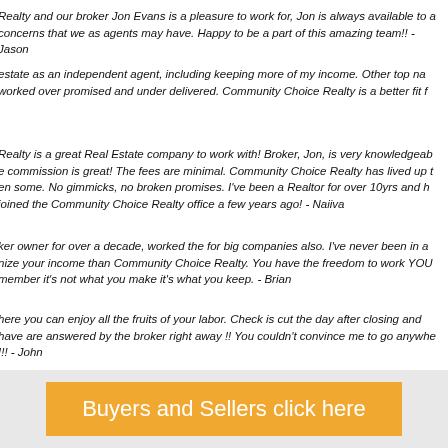Realty and our broker Jon Evans is a pleasure to work for, Jon is always available to a concerns that we as agents may have. Happy to be a part of this amazing team!! - Jason
estate as an independent agent, including keeping more of my income. Other top na worked over promised and under delivered. Community Choice Realty is a better fit f
Realty is a great Real Estate company to work with! Broker, Jon, is very knowledgeab commission is great! The fees are minimal. Community Choice Realty has lived up t en some. No gimmicks, no broken promises. I've been a Realtor for over 10yrs and joined the Community Choice Realty office a few years ago! - Naiiva
ker owner for over a decade, worked the for big companies also. I've never been in a nize your income than Community Choice Realty. You have the freedom to work YOU member it's not what you make it's what you keep. - Brian
here you can enjoy all the fruits of your labor. Check is cut the day after closing and have are answered by the broker right away !! You couldn't convince me to go anywhe !!! - John
Buyers and Sellers click here